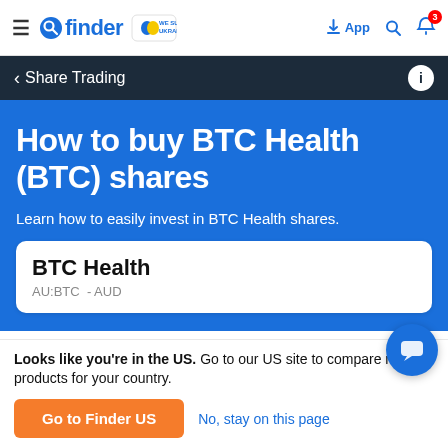finder — WE SUPPORT UKRAINE — App — Search — Notifications (3)
< Share Trading
How to buy BTC Health (BTC) shares
Learn how to easily invest in BTC Health shares.
BTC Health
AU:BTC - AUD
Looks like you're in the US. Go to our US site to compare relevant products for your country.
Go to Finder US
No, stay on this page